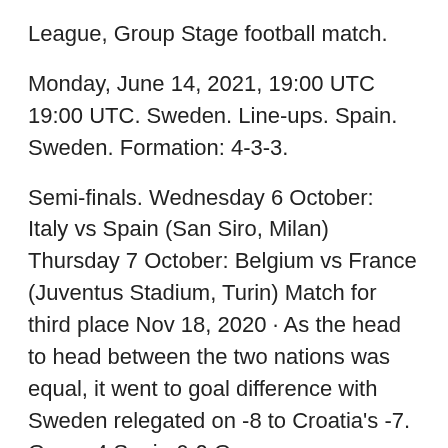League, Group Stage football match.
Monday, June 14, 2021, 19:00 UTC 19:00 UTC. Sweden. Line-ups. Spain. Sweden. Formation: 4-3-3.
Semi-finals. Wednesday 6 October: Italy vs Spain (San Siro, Milan) Thursday 7 October: Belgium vs France (Juventus Stadium, Turin) Match for third place Nov 18, 2020 · As the head to head between the two nations was equal, it went to goal difference with Sweden relegated on -8 to Croatia's -7. Group 4 Spain 6-0 Germany ; Switzerland P-P Ukraine Nov 17, 2020 · NATIONS LEAGUE LIVE: Spain host Germany in crunch clash of the European giants with winner reaching next year's finals, while France welcome Sweden and Portugal travel to Croatia. The final round of the Nations League group games gets underway with the